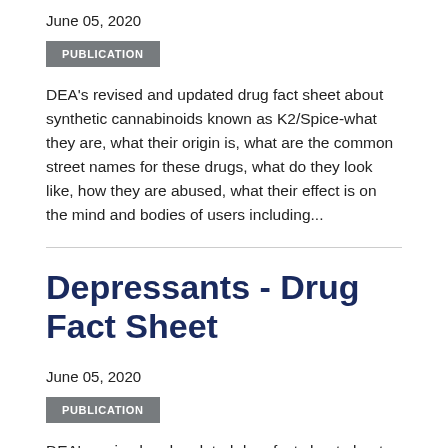June 05, 2020
PUBLICATION
DEA's revised and updated drug fact sheet about synthetic cannabinoids known as K2/Spice-what they are, what their origin is, what are the common street names for these drugs, what do they look like, how they are abused, what their effect is on the mind and bodies of users including...
Depressants - Drug Fact Sheet
June 05, 2020
PUBLICATION
DEA's revised and updated drug fact sheet about the